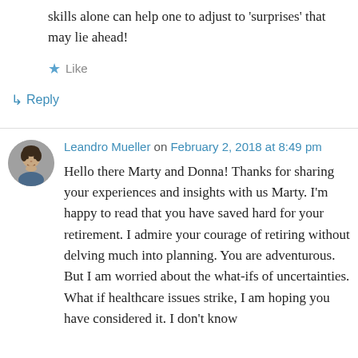skills alone can help one to adjust to 'surprises' that may lie ahead!
★ Like
↳ Reply
Leandro Mueller on February 2, 2018 at 8:49 pm
Hello there Marty and Donna! Thanks for sharing your experiences and insights with us Marty. I'm happy to read that you have saved hard for your retirement. I admire your courage of retiring without delving much into planning. You are adventurous. But I am worried about the what-ifs of uncertainties. What if healthcare issues strike, I am hoping you have considered it. I don't know